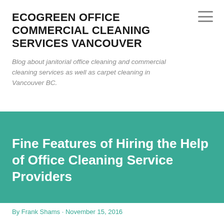ECOGREEN OFFICE COMMERCIAL CLEANING SERVICES VANCOUVER
Blog about janitorial office cleaning and commercial cleaning services as well as carpet cleaning in Vancouver BC.
Fine Features of Hiring the Help of Office Cleaning Service Providers
By Frank Shams · November 15, 2016